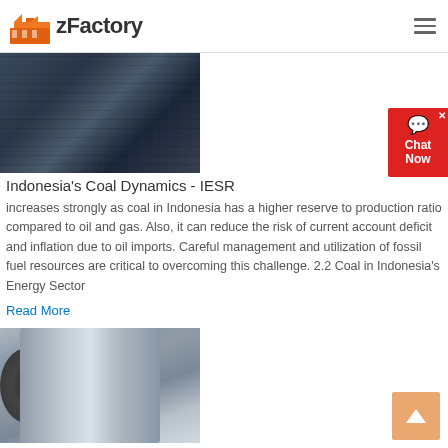zFactory
[Figure (photo): Industrial coal mining or crushing equipment, heavy machinery with blue metal frames and conveyors, rocks/gravel in background]
Indonesia’s Coal Dynamics - IESR
increases strongly as coal in Indonesia has a higher reserve to production ratio compared to oil and gas. Also, it can reduce the risk of current account deficit and inflation due to oil imports. Careful management and utilization of fossil fuel resources are critical to overcoming this challenge. 2.2 Coal in Indonesia’s Energy Sector
Read More
[Figure (photo): Large industrial ball mill or grinding cylinder machine in a factory/warehouse setting, grey cylindrical drum with large gear ring]